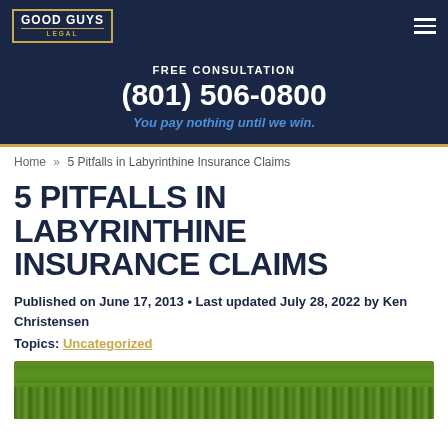[Figure (logo): Good Guys Legal logo in gold-bordered box on dark navy navigation bar]
FREE CONSULTATION
(801) 506-0800
You pay nothing until we win.
Home » 5 Pitfalls in Labyrinthine Insurance Claims
5 PITFALLS IN LABYRINTHINE INSURANCE CLAIMS
Published on June 17, 2013 • Last updated July 28, 2022 by Ken Christensen
Topics: Uncategorized
[Figure (photo): Green grass hedge/lawn photo at bottom of page]